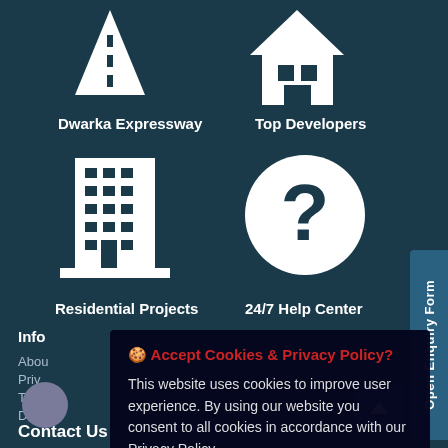[Figure (illustration): White road/expressway icon on teal background]
Dwarka Expressway
[Figure (illustration): White house icon on teal background]
Top Developers
[Figure (illustration): White building/residential icon on teal background]
Residential Projects
[Figure (illustration): White question mark in circle icon on teal background]
24/7 Help Center
Info
Abou
Priv
Term
Discl
[Figure (other): Open Enquiry Form vertical side tab button]
🍪 Accept Cookies & Privacy Policy?
This website uses cookies to improve user experience. By using our website you consent to all cookies in accordance with our Privacy Policy
Accept Cookies
Contact Us